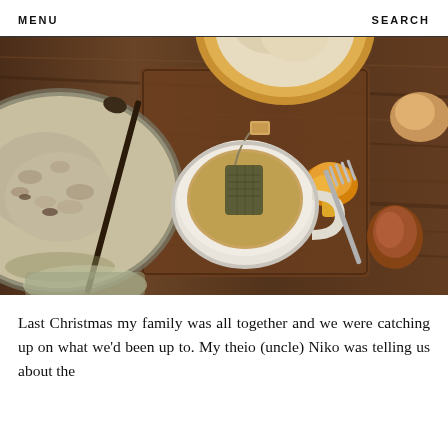MENU    SEARCH
[Figure (photo): Overhead/top-down food photography on a wooden board showing a mug of tea with a tea bag, bowls of rice or porridge, mushrooms, a fork, and other food items.]
Last Christmas my family was all together and we were catching up on what we'd been up to. My theio (uncle) Niko was telling us about the